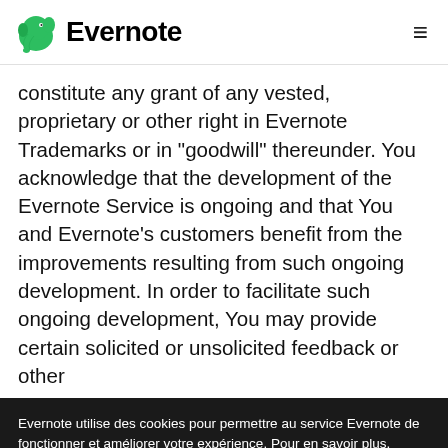Evernote
constitute any grant of any vested, proprietary or other right in Evernote Trademarks or in "goodwill" thereunder. You acknowledge that the development of the Evernote Service is ongoing and that You and Evernote's customers benefit from the improvements resulting from such ongoing development. In order to facilitate such ongoing development, You may provide certain solicited or unsolicited feedback or other
Evernote utilise des cookies pour permettre au service Evernote de fonctionner et améliorer votre expérience. Pour en savoir plus, consultez notre politique sur les cookies. En cliquant sur OK ou en continuant à utiliser notre site, vous acceptez les cookies.
OK